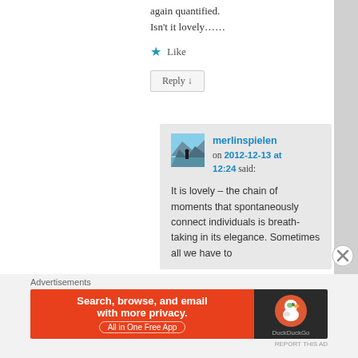again quantified.
Isn't it lovely……
★ Like
Reply ↓
merlinspielen on 2012-12-13 at 12:24 said:
It is lovely – the chain of moments that spontaneously connect individuals is breath-taking in its elegance. Sometimes all we have to
[Figure (screenshot): DuckDuckGo advertisement banner: orange left side with text 'Search, browse, and email with more privacy. All in One Free App', dark right side with DuckDuckGo duck logo]
Advertisements